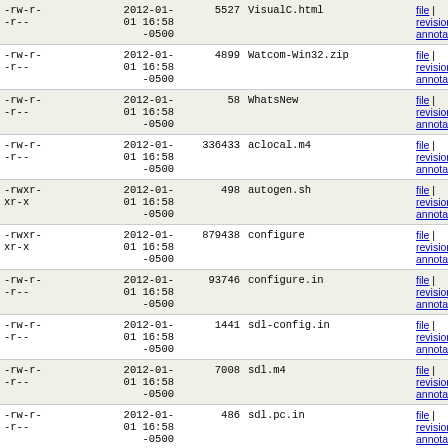| perms | date | size | name | actions |
| --- | --- | --- | --- | --- |
| -rw-r--r-- | 2012-01-01 16:58 -0500 | 5527 | VisualC.html | file | revisions | annotate |
| -rw-r--r-- | 2012-01-01 16:58 -0500 | 4899 | Watcom-Win32.zip | file | revisions | annotate |
| -rw-r--r-- | 2012-01-01 16:58 -0500 | 58 | WhatsNew | file | revisions | annotate |
| -rw-r--r-- | 2012-01-01 16:58 -0500 | 336433 | aclocal.m4 | file | revisions | annotate |
| -rwxr-xr-x | 2012-01-01 16:58 -0500 | 498 | autogen.sh | file | revisions | annotate |
| -rwxr-xr-x | 2012-01-01 16:58 -0500 | 879438 | configure | file | revisions | annotate |
| -rw-r--r-- | 2012-01-01 16:58 -0500 | 93746 | configure.in | file | revisions | annotate |
| -rw-r--r-- | 2012-01-01 16:58 -0500 | 1441 | sdl-config.in | file | revisions | annotate |
| -rw-r--r-- | 2012-01-01 16:58 -0500 | 7008 | sdl.m4 | file | revisions | annotate |
| -rw-r--r-- | 2012-01-01 16:58 -0500 | 486 | sdl.pc.in | file | revisions | annotate |